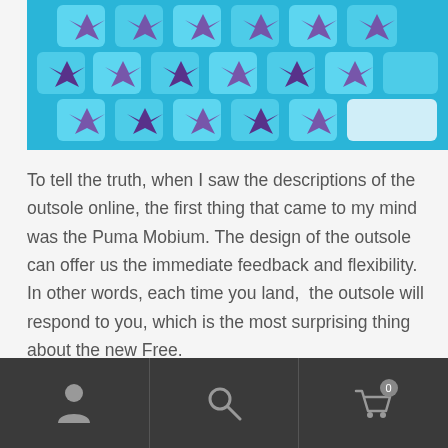[Figure (photo): Close-up photo of a shoe outsole with turquoise/blue hexagonal pattern with purple star-shaped cutouts, showing flexible rubber sole design]
To tell the truth, when I saw the descriptions of the outsole online, the first thing that came to my mind was the Puma Mobium. The design of the outsole can offer us the immediate feedback and flexibility. In other words, each time you land, the outsole will respond to you, which is the most surprising thing about the new Free.
[Figure (photo): Partial bottom view of a blue/turquoise shoe, cropped at bottom of page]
Navigation bar with user icon, search icon, and cart icon (0 items)